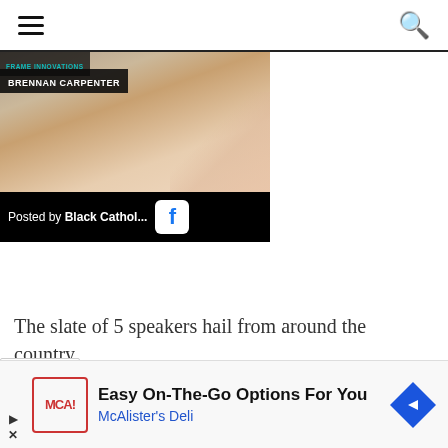Navigation menu and search
[Figure (screenshot): Video thumbnail showing a person with text overlay 'BRENNAN CARPENTER' and Facebook post attribution 'Posted by Black Cathol... [Facebook icon]']
The slate of 5 speakers hail from around the country.
vayne Davis is pastor of St Thomas Aquinas
[Figure (infographic): Advertisement: 'Easy On-The-Go Options For You' McAlister's Deli with logo and navigation arrow icon]